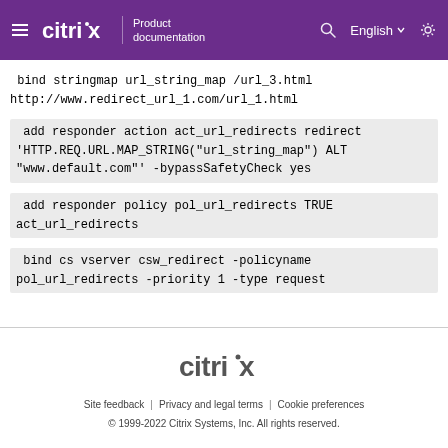Citrix Product documentation | English
bind stringmap url_string_map /url_3.html
http://www.redirect_url_1.com/url_1.html
add responder action act_url_redirects redirect
'HTTP.REQ.URL.MAP_STRING("url_string_map") ALT
"www.default.com"' -bypassSafetyCheck yes
add responder policy pol_url_redirects TRUE
act_url_redirects
bind cs vserver csw_redirect -policyname
pol_url_redirects -priority 1 -type request
Citrix | Site feedback | Privacy and legal terms | Cookie preferences | © 1999-2022 Citrix Systems, Inc. All rights reserved.